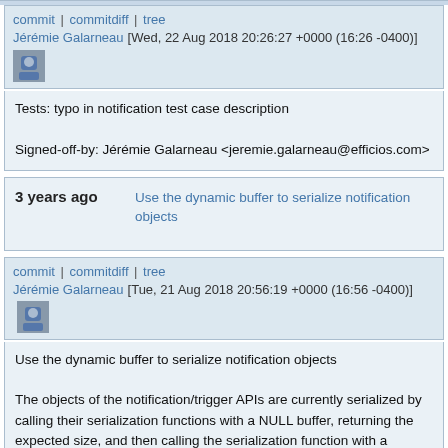commit | commitdiff | tree
Jérémie Galarneau [Wed, 22 Aug 2018 20:26:27 +0000 (16:26 -0400)]
Tests: typo in notification test case description

Signed-off-by: Jérémie Galarneau <jeremie.galarneau@efficios.com>
3 years ago   Use the dynamic buffer to serialize notification objects
commit | commitdiff | tree
Jérémie Galarneau [Tue, 21 Aug 2018 20:56:19 +0000 (16:56 -0400)]
Use the dynamic buffer to serialize notification objects

The objects of the notification/trigger APIs are currently serialized by calling their serialization functions with a NULL buffer, returning the expected size, and then calling the serialization function with a sufficiently-large buffer.

This code predates the dynamic buffer utility which can now be used to perform serialization operations in one pass.